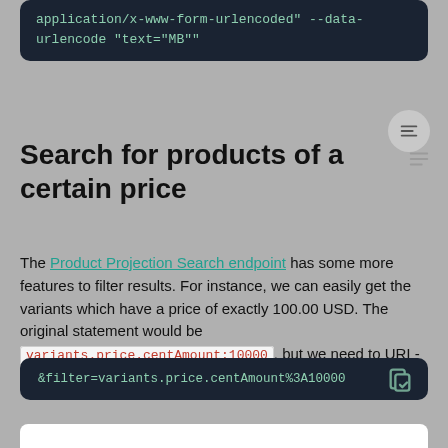application/x-www-form-urlencoded" --data-urlencode "text="MB""
Search for products of a certain price
The Product Projection Search endpoint has some more features to filter results. For instance, we can easily get the variants which have a price of exactly 100.00 USD. The original statement would be variants.price.centAmount:10000, but we need to URL-encode it, like so:
&filter=variants.price.centAmount%3A10000